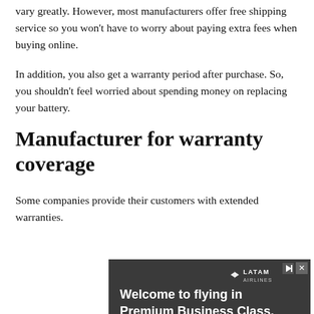vary greatly. However, most manufacturers offer free shipping service so you won't have to worry about paying extra fees when buying online.
In addition, you also get a warranty period after purchase. So, you shouldn't feel worried about spending money on replacing your battery.
Manufacturer for warranty coverage
Some companies provide their customers with extended warranties.
[Figure (other): Advertisement banner for LATAM Airlines Premium Business Class with text 'Welcome to flying in Premium Business Class.' and a 'Find out more' button]